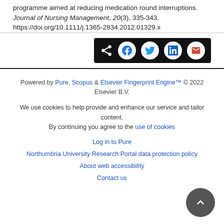Paradoxical effects of a hospital-based, multi-intervention programme aimed at reducing medication round interruptions. Journal of Nursing Management, 20(3), 335-343. https://doi.org/10.1111/j.1365-2834.2012.01329.x
[Figure (other): Social share bar with icons for Share, Facebook, Twitter, LinkedIn, and Email on dark background]
Powered by Pure, Scopus & Elsevier Fingerprint Engine™ © 2022 Elsevier B.V.
We use cookies to help provide and enhance our service and tailor content. By continuing you agree to the use of cookies
Log in to Pure
Northumbria University Research Portal data protection policy
About web accessibility
Contact us